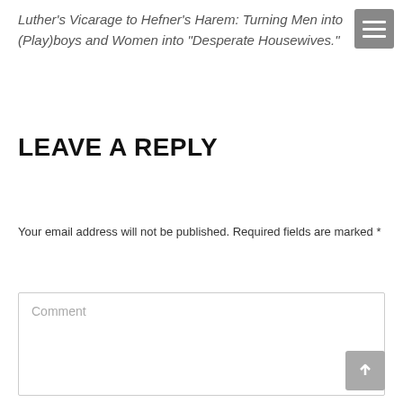Luther's Vicarage to Hefner's Harem: Turning Men into (Play)boys and Women into “Desperate Housewives.”
LEAVE A REPLY
Your email address will not be published. Required fields are marked *